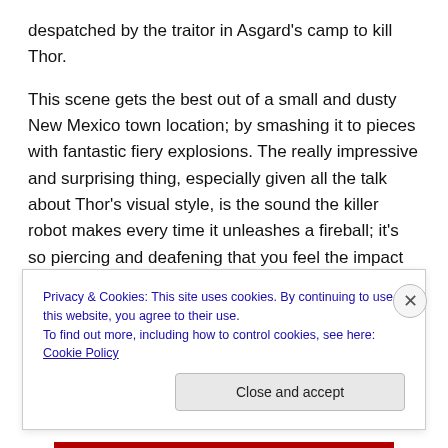despatched by the traitor in Asgard's camp to kill Thor.
This scene gets the best out of a small and dusty New Mexico town location; by smashing it to pieces with fantastic fiery explosions. The really impressive and surprising thing, especially given all the talk about Thor's visual style, is the sound the killer robot makes every time it unleashes a fireball; it's so piercing and deafening that you feel the impact of each blast. My friend violently flinched in surprise at one moment when the thing shaped up to slap something. Then in the aftermath of the
Privacy & Cookies: This site uses cookies. By continuing to use this website, you agree to their use.
To find out more, including how to control cookies, see here: Cookie Policy